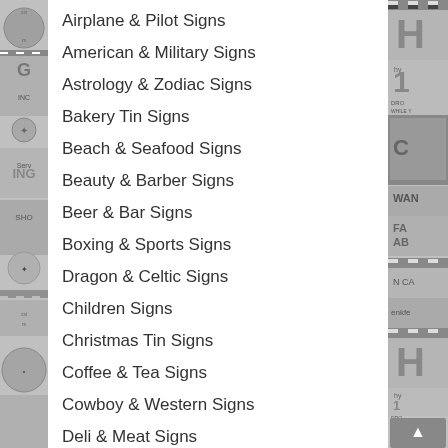[Figure (illustration): Left decorative strip with vintage tin sign images in grayscale]
Airplane & Pilot Signs
American & Military Signs
Astrology & Zodiac Signs
Bakery Tin Signs
Beach & Seafood Signs
Beauty & Barber Signs
Beer & Bar Signs
Boxing & Sports Signs
Dragon & Celtic Signs
Children Signs
Christmas Tin Signs
Coffee & Tea Signs
Cowboy & Western Signs
Deli & Meat Signs
Dogs & Animal Signs
Ethnic Food Signs
Farm & Country Signs
Food & Beverage Signs
[Figure (illustration): Right decorative strip with vintage tin sign images and scroll-to-top button]